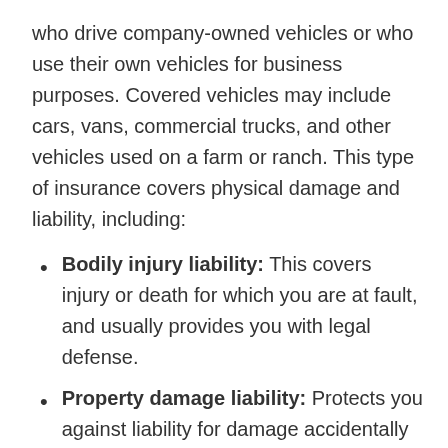who drive company-owned vehicles or who use their own vehicles for business purposes. Covered vehicles may include cars, vans, commercial trucks, and other vehicles used on a farm or ranch. This type of insurance covers physical damage and liability, including:
Bodily injury liability: This covers injury or death for which you are at fault, and usually provides you with legal defense.
Property damage liability: Protects you against liability for damage accidentally caused by your vehicle to another person's property, plus legal defense in most cases.
Medical payments, no-fault, or personal injury coverage: This insurance pays for medical